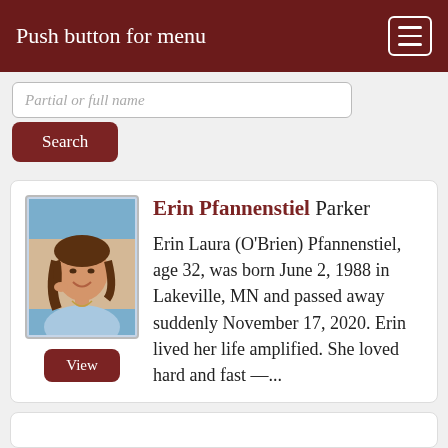Push button for menu
Partial or full name
Search
[Figure (photo): Portrait photo of a young woman smiling, wearing a light blue top, outdoors background]
Erin Pfannenstiel Parker
Erin Laura (O'Brien) Pfannenstiel, age 32, was born June 2, 1988 in Lakeville, MN and passed away suddenly November 17, 2020. Erin lived her life amplified. She loved hard and fast —...